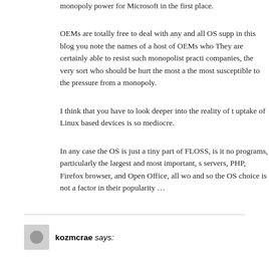monopoly power for Microsoft in the first place.
OEMs are totally free to deal with any and all OS supp… in this blog you note the names of a host of OEMs who… They are certainly able to resist such monopolist practi… companies, the very sort who should be hurt the most a… the most susceptible to the pressure from a monopoly.
I think that you have to look deeper into the reality of t… uptake of Linux based devices is so mediocre.
In any case the OS is just a tiny part of FLOSS, is it no… programs, particularly the largest and most important, s… servers, PHP, Firefox browser, and Open Office, all wo… and so the OS choice is not a factor in their popularity …
kozmcrae says: